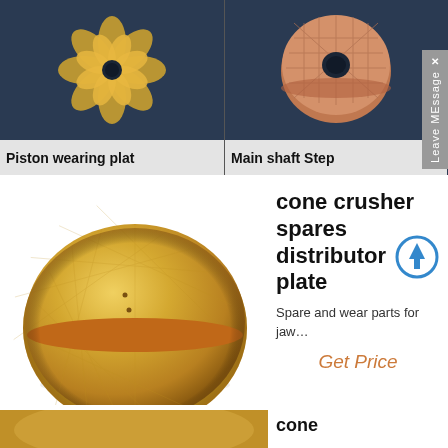[Figure (photo): Golden metallic piston wearing plate with flower/lotus petal pattern, photographed against dark blue background]
Piston wearing plat
[Figure (photo): Copper/bronze metallic main shaft step with grid/diamond pattern on top surface, photographed against dark blue background]
Main shaft Step
[Figure (photo): Large polished brass/bronze distributor plate, flat disc shape with radial brush marks, on white background]
cone crusher spares distributor plate
Spare and wear parts for jaw…
Get Price
[Figure (photo): Partial view of another golden metallic cone crusher component at bottom of page]